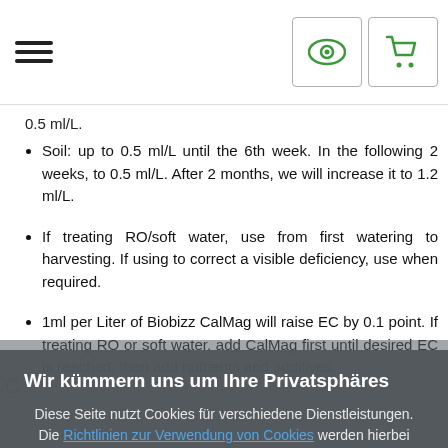[hamburger menu icon] [eye icon] [cart icon]
0.5 ml/L.
Soil: up to 0.5 ml/L until the 6th week. In the following 2 weeks, to 0.5 ml/L. After 2 months, we will increase it to 1.2 ml/L.
If treating RO/soft water, use from first watering to harvesting. If using to correct a visible deficiency, use when required.
1ml per Liter of Biobizz CalMag will raise EC by 0.1 point. If treating RO or soft water, add CalMag first until desired EC is reached, then add nutrients and additives.
Wir kümmern uns um Ihre Privatsphäres
Diese Seite nutzt Cookies für verschiedene Dienstleistungen. Die Richtlinien zur Verwendung von Cookies werden hierbei eingehalten. Sie können die Bedingungen für die Speicherung sowie den Zugriff auf die Cookie-Dateien in Ihrem Web-Browser festlegen.
Schließen